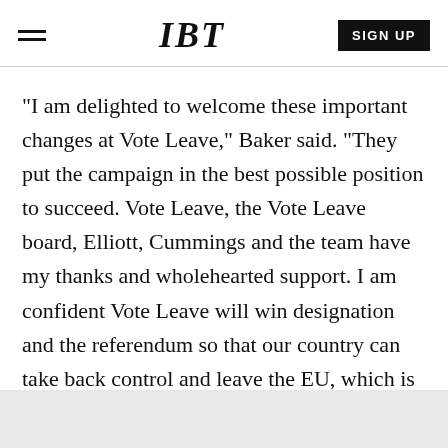IBT | SIGN UP
"I am delighted to welcome these important changes at Vote Leave," Baker said. "They put the campaign in the best possible position to succeed. Vote Leave, the Vote Leave board, Elliott, Cummings and the team have my thanks and wholehearted support. I am confident Vote Leave will win designation and the referendum so that our country can take back control and leave the EU, which is the safer choice."